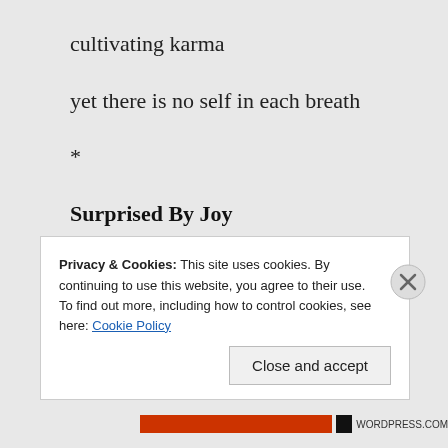cultivating karma
yet there is no self in each breath
*
Surprised By Joy
Sitting alone
sudden birdsong
Privacy & Cookies: This site uses cookies. By continuing to use this website, you agree to their use.
To find out more, including how to control cookies, see here: Cookie Policy